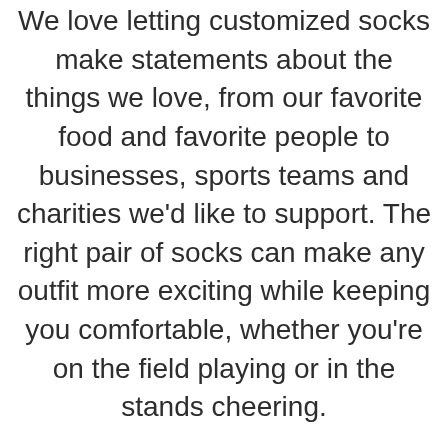We love letting customized socks make statements about the things we love, from our favorite food and favorite people to businesses, sports teams and charities we'd like to support. The right pair of socks can make any outfit more exciting while keeping you comfortable, whether you're on the field playing or in the stands cheering.